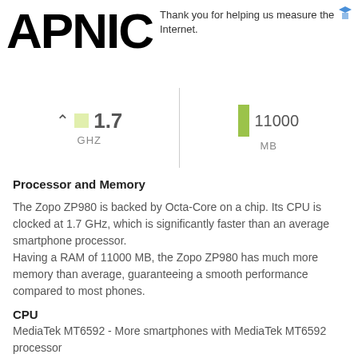APNIC — Thank you for helping us measure the Internet.
[Figure (infographic): Two metric indicators: CPU speed 1.7 GHZ on the left, and RAM 11000 MB on the right, with a green bar indicator.]
Processor and Memory
The Zopo ZP980 is backed by Octa-Core on a chip. Its CPU is clocked at 1.7 GHz, which is significantly faster than an average smartphone processor.
Having a RAM of 11000 MB, the Zopo ZP980 has much more memory than average, guaranteeing a smooth performance compared to most phones.
CPU
MediaTek MT6592 - More smartphones with MediaTek MT6592 processor
Processor Cores
Octa-Core